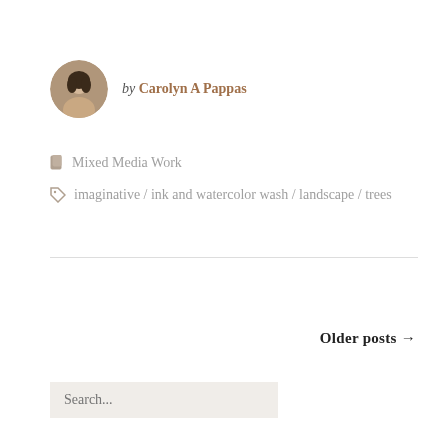by Carolyn A Pappas
Mixed Media Work
imaginative / ink and watercolor wash / landscape / trees
Older posts →
Search...